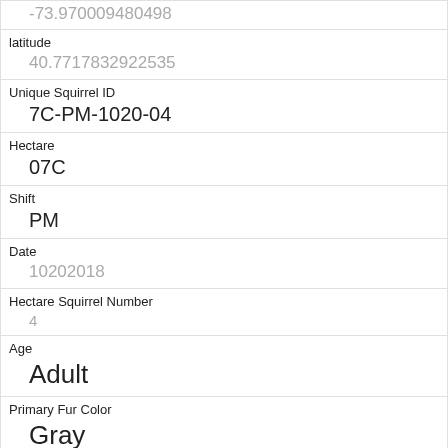| -73.970009480498 |
| latitude | 40.7717832922535 |
| Unique Squirrel ID | 7C-PM-1020-04 |
| Hectare | 07C |
| Shift | PM |
| Date | 10202018 |
| Hectare Squirrel Number | 4 |
| Age | Adult |
| Primary Fur Color | Gray |
| Highlight Fur Color |  |
| Combination of Primary and Highlight Color | Gray+ |